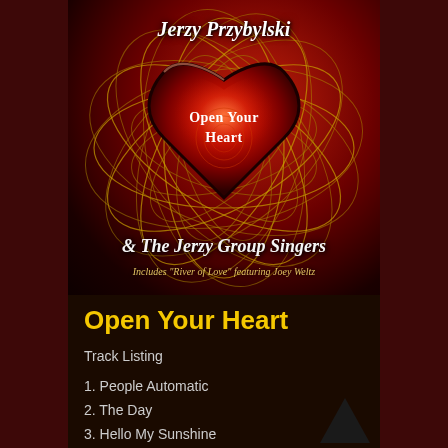[Figure (illustration): Album cover for 'Open Your Heart' by Jerzy Przybylski & The Jerzy Group Singers. Dark background with gold spiral patterns, a large red heart in the center with 'Open Your Heart' text inside. Artist name at top in italic white script. Bottom text includes '& The Jerzy Group Singers' and 'Includes River of Love featuring Joey Weltz'.]
Open Your Heart
Track Listing
1. People Automatic
2. The Day
3. Hello My Sunshine